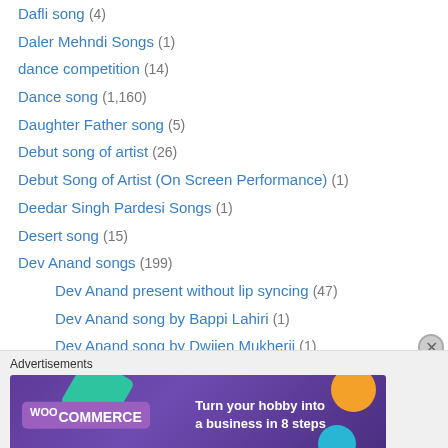Dafli song (4)
Daler Mehndi Songs (1)
dance competition (14)
Dance song (1,160)
Daughter Father song (5)
Debut song of artist (26)
Debut Song of Artist (On Screen Performance) (1)
Deedar Singh Pardesi Songs (1)
Desert song (15)
Dev Anand songs (199)
Dev Anand present without lip syncing (47)
Dev Anand song by Bappi Lahiri (1)
Dev Anand song by Dwijen Mukherji (1)
Dev Anand song by Mahendra Kapoor (1)
Dev Anand songs by C Ramchandra (5)
Dev Anand songs by Hemant Kumar (6)
[Figure (screenshot): WooCommerce advertisement banner: Turn your hobby into a business in 8 steps]